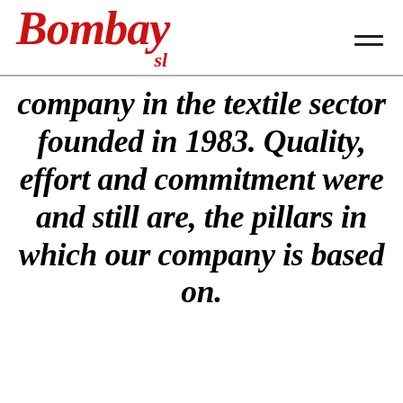Bombay sl
company in the textile sector founded in 1983. Quality, effort and commitment were and still are, the pillars in which our company is based on.